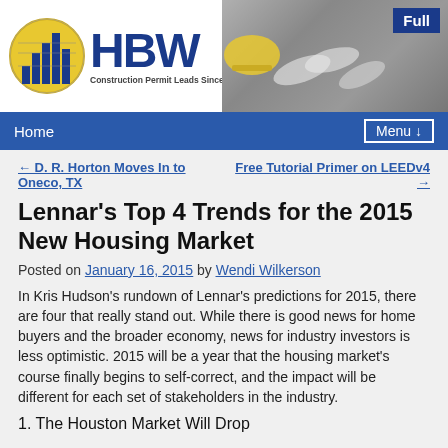[Figure (logo): HBW Construction Permit Leads Since 1992 logo with banner showing construction plans and tools, and a Full badge in top right]
Home   Menu ↓
← D. R. Horton Moves In to Oneco, TX    Free Tutorial Primer on LEEDv4 →
Lennar's Top 4 Trends for the 2015 New Housing Market
Posted on January 16, 2015 by Wendi Wilkerson
In Kris Hudson's rundown of Lennar's predictions for 2015, there are four that really stand out. While there is good news for home buyers and the broader economy, news for industry investors is less optimistic. 2015 will be a year that the housing market's course finally begins to self-correct, and the impact will be different for each set of stakeholders in the industry.
1. The Houston Market Will Drop